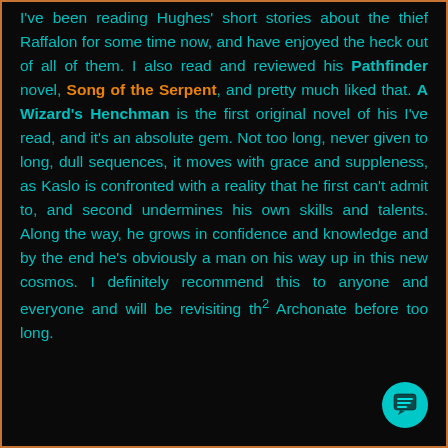I've been reading Hughes' short stories about the thief Raffalon for some time now, and have enjoyed the heck out of all of them. I also read and reviewed his Pathfinder novel, Song of the Serpent, and pretty much liked that. A Wizard's Henchman is the first original novel of his I've read, and it's an absolute gem. Not too long, never given to long, dull sequences, it moves with grace and suppleness, as Kaslo is confronted with a reality that he first can't admit to, and second undermines his own skills and talents. Along the way, he grows in confidence and knowledge and by the end he's obviously a man on his way up in this new cosmos. I definitely recommend this to anyone and everyone and will be revisiting the Archonate before too long.